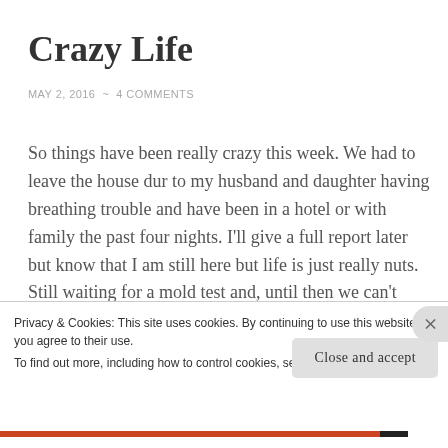Crazy Life
MAY 2, 2016 ~ 4 COMMENTS
So things have been really crazy this week. We had to leave the house dur to my husband and daughter having breathing trouble and have been in a hotel or with family the past four nights. I'll give a full report later but know that I am still here but life is just really nuts. Still waiting for a mold test and, until then we can't move forward. Continued prayers for
Privacy & Cookies: This site uses cookies. By continuing to use this website, you agree to their use.
To find out more, including how to control cookies, see here: Cookie Policy
Close and accept